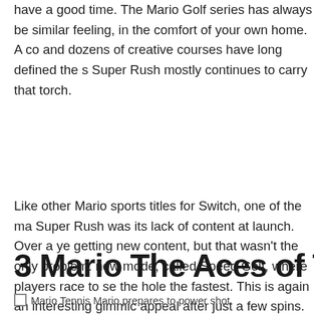have a good time. The Mario Golf series has always be similar feeling, in the comfort of your own home. A co and dozens of creative courses have long defined the s Super Rush mostly continues to carry that torch.
Like other Mario sports titles for Switch, one of the ma Super Rush was its lack of content at launch. Over a ye getting new content, but that wasn't the only problem. new mode, called Speed Golf, where players race to se the hole the fastest. This is again an interesting gimmic appeal after just a few spins.
3 Mario The Aces of T
[Figure (photo): Mario Tennis Mario prepares to power shot]